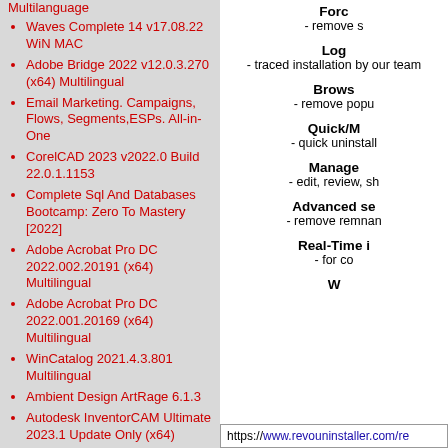Multilanguage
Waves Complete 14 v17.08.22 WiN MAC
Adobe Bridge 2022 v12.0.3.270 (x64) Multilingual
Email Marketing. Campaigns, Flows, Segments,ESPs. All-in-One
CorelCAD 2023 v2022.0 Build 22.0.1.1153
Complete Sql And Databases Bootcamp: Zero To Mastery [2022]
Adobe Acrobat Pro DC 2022.002.20191 (x64) Multilingual
Adobe Acrobat Pro DC 2022.001.20169 (x64) Multilingual
WinCatalog 2021.4.3.801 Multilingual
Ambient Design ArtRage 6.1.3
Autodesk InventorCAM Ultimate 2023.1 Update Only (x64)
Microsoft Office 2016 v.16.0.5278.1000 Pro Plus VL x86/x64 Multilanguage August 2022
Forc
- remove s
Log
- traced installation by our team
Brows
- remove popu
Quick/M
- quick uninstall
Manage
- edit, review, sh
Advanced se
- remove remnan
Real-Time i
- for co
W
https://www.revouninstaller.com/re